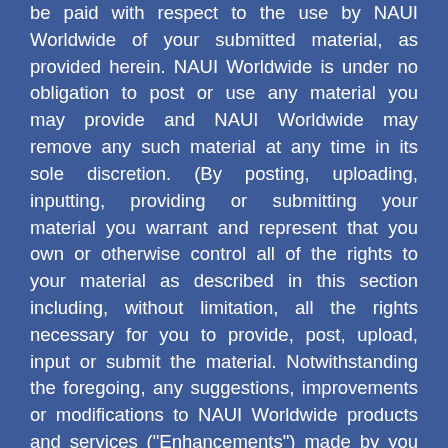be paid with respect to the use by NAUI Worldwide of your submitted material, as provided herein. NAUI Worldwide is under no obligation to post or use any material you may provide and NAUI Worldwide may remove any such material at any time in its sole discretion. (By posting, uploading, inputting, providing or submitting your material you warrant and represent that you own or otherwise control all of the rights to your material as described in this section including, without limitation, all the rights necessary for you to provide, post, upload, input or submit the material. Notwithstanding the foregoing, any suggestions, improvements or modifications to NAUI Worldwide products and services ("Enhancements") made by you or anyone acting on your behalf, including your employees, will be the property of NAUI